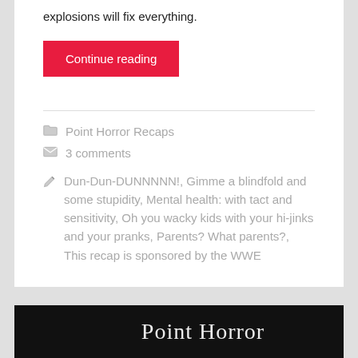explosions will fix everything.
Continue reading
Point Horror Recaps
3 comments
Dun-Dun-DUNNNNN!, Gimme a blindfold and some stupidity, Mental health: with tact and sensitivity, Oh you wacky kids with your hi-jinks and your pranks, Parents? What parents?, This recap is sponsored by the WWE
[Figure (photo): Black background with cursive white handwriting text partially visible at bottom of page, appearing to be a book or blog header image.]